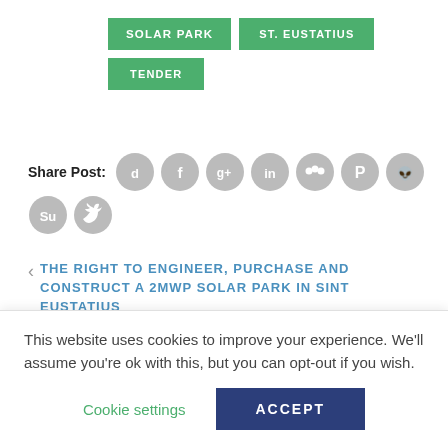SOLAR PARK TENDER   ST. EUSTATIUS
Share Post:
[Figure (infographic): Row of grey circular social media share icons: Digg, Facebook, Google+, LinkedIn, MySpace, Pinterest, Reddit, StumbleUpon, Twitter]
< THE RIGHT TO ENGINEER, PURCHASE AND CONSTRUCT A 2MWP SOLAR PARK IN SINT EUSTATIUS
This website uses cookies to improve your experience. We'll assume you're ok with this, but you can opt-out if you wish.
Cookie settings   ACCEPT